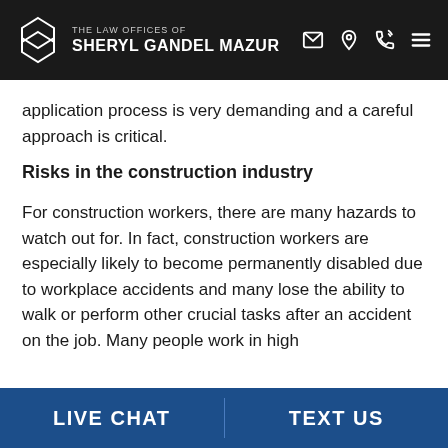THE LAW OFFICES OF SHERYL GANDEL MAZUR
application process is very demanding and a careful approach is critical.
Risks in the construction industry
For construction workers, there are many hazards to watch out for. In fact, construction workers are especially likely to become permanently disabled due to workplace accidents and many lose the ability to walk or perform other crucial tasks after an accident on the job. Many people work in high
LIVE CHAT | TEXT US